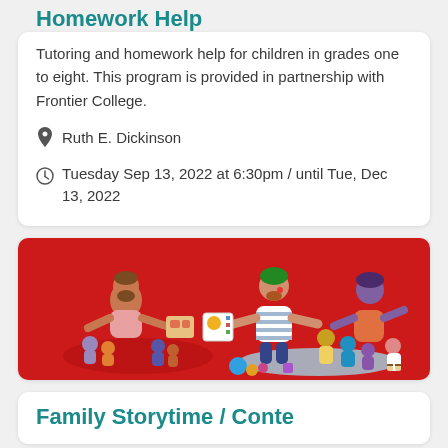Homework Help
Tutoring and homework help for children in grades one to eight. This program is provided in partnership with Frontier College.
Ruth E. Dickinson
Tuesday Sep 13, 2022 at 6:30pm / until Tue, Dec 13, 2022
[Figure (illustration): Colorful illustration on a red background showing adults and children in a reading/tutoring group setting. Two groups are visible: one on the left with a bearded adult and children on a mat, and one on the right with a striped-shirt adult holding a book flanked by children and another adult.]
Family Storytime / Conte